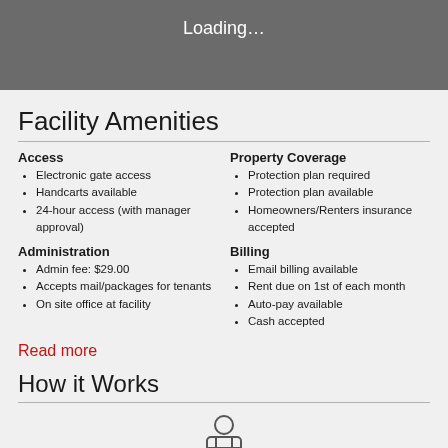[Figure (screenshot): Gray loading box with 'Loading…' text in white]
Facility Amenities
Access
Electronic gate access
Handcarts available
24-hour access (with manager approval)
Property Coverage
Protection plan required
Protection plan available
Homeowners/Renters insurance accepted
Administration
Admin fee: $29.00
Accepts mail/packages for tenants
On site office at facility
Billing
Email billing available
Rent due on 1st of each month
Auto-pay available
Cash accepted
Read more
How it Works
[Figure (illustration): Icon illustration at bottom of page]